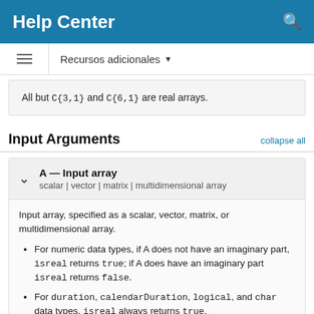Help Center
Recursos adicionales
All but C{3,1} and C{6,1} are real arrays.
Input Arguments
A — Input array
scalar | vector | matrix | multidimensional array
Input array, specified as a scalar, vector, matrix, or multidimensional array.
For numeric data types, if A does not have an imaginary part, isreal returns true; if A does have an imaginary part isreal returns false.
For duration, calendarDuration, logical, and char data types, isreal always returns true.
For string, table, cell, struct, datetime,